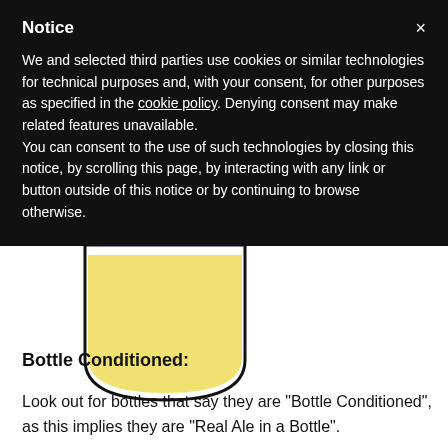Notice
We and selected third parties use cookies or similar technologies for technical purposes and, with your consent, for other purposes as specified in the cookie policy. Denying consent may make related features unavailable.
You can consent to the use of such technologies by closing this notice, by scrolling this page, by interacting with any link or button outside of this notice or by continuing to browse otherwise.
[Figure (illustration): Bottom portion of a bottle illustration showing a yellow/pale golden liquid fill inside a bottle outline with rounded bottom edges]
Bottle Conditioned:
Look out for bottles that say they are "Bottle Conditioned", as this implies they are "Real Ale in a Bottle".